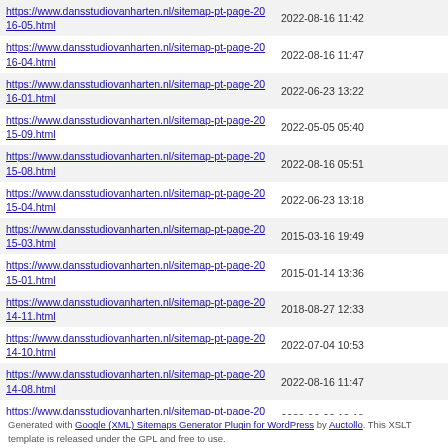| URL | Last Modified |
| --- | --- |
| https://www.dansstudiovanharten.nl/sitemap-pt-page-2016-05.html | 2022-08-16 11:42 |
| https://www.dansstudiovanharten.nl/sitemap-pt-page-2016-04.html | 2022-08-16 11:47 |
| https://www.dansstudiovanharten.nl/sitemap-pt-page-2016-01.html | 2022-06-23 13:22 |
| https://www.dansstudiovanharten.nl/sitemap-pt-page-2015-09.html | 2022-05-05 05:40 |
| https://www.dansstudiovanharten.nl/sitemap-pt-page-2015-08.html | 2022-08-16 05:51 |
| https://www.dansstudiovanharten.nl/sitemap-pt-page-2015-04.html | 2022-06-23 13:18 |
| https://www.dansstudiovanharten.nl/sitemap-pt-page-2015-03.html | 2015-03-16 19:49 |
| https://www.dansstudiovanharten.nl/sitemap-pt-page-2015-01.html | 2015-01-14 13:36 |
| https://www.dansstudiovanharten.nl/sitemap-pt-page-2014-11.html | 2018-08-27 12:33 |
| https://www.dansstudiovanharten.nl/sitemap-pt-page-2014-10.html | 2022-07-04 10:53 |
| https://www.dansstudiovanharten.nl/sitemap-pt-page-2014-08.html | 2022-08-16 11:47 |
| https://www.dansstudiovanharten.nl/sitemap-pt-page-2014-02.html | 2022-06-23 13:18 |
| https://www.dansstudiovanharten.nl/sitemap-pt-page-2013-08.html | 2022-03-03 13:05 |
| https://www.dansstudiovanharten.nl/sitemap-pt-page-2013-02.html | 2013-11-14 08:09 |
| https://www.dansstudiovanharten.nl/sitemap-pt-page-2012-08.html | 2021-08-20 16:34 |
Generated with Google (XML) Sitemaps Generator Plugin for WordPress by Auctollo. This XSLT template is released under the GPL and free to use.